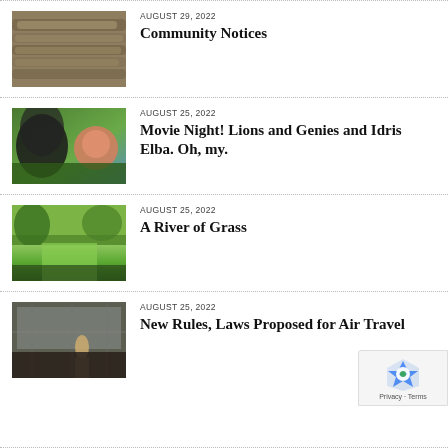AUGUST 29, 2022 — Community Notices
AUGUST 25, 2022 — Movie Night! Lions and Genies and Idris Elba. Oh, my.
AUGUST 25, 2022 — A River of Grass
AUGUST 25, 2022 — New Rules, Laws Proposed for Air Travel